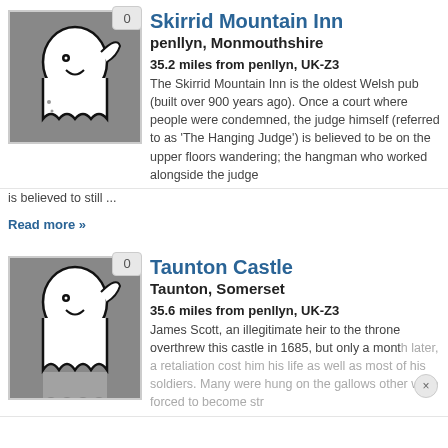[Figure (illustration): Ghost cartoon icon on grey background with badge showing 0]
Skirrid Mountain Inn
penllyn, Monmouthshire
35.2 miles from penllyn, UK-Z3
The Skirrid Mountain Inn is the oldest Welsh pub (built over 900 years ago). Once a court where people were condemned, the judge himself (referred to as 'The Hanging Judge') is believed to be on the upper floors wandering; the hangman who worked alongside the judge is believed to still ...
Read more »
[Figure (illustration): Ghost cartoon icon on grey background with badge showing 0]
Taunton Castle
Taunton, Somerset
35.6 miles from penllyn, UK-Z3
James Scott, an illegitimate heir to the throne overthrew this castle in 1685, but only a month later, a retaliation cost him his life as well as most of his soldiers. Many were hung on the gallows other were forced to become str...